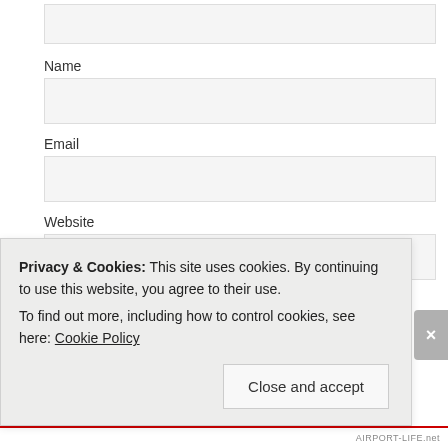Name
Email
Website
Post Comment
Notify me of new comments via email.
Notify me of new posts via email.
Privacy & Cookies: This site uses cookies. By continuing to use this website, you agree to their use.
To find out more, including how to control cookies, see here: Cookie Policy
Close and accept